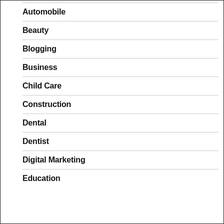Automobile
Beauty
Blogging
Business
Child Care
Construction
Dental
Dentist
Digital Marketing
Education